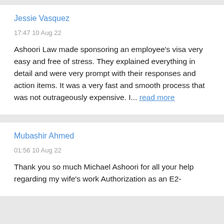Jessie Vasquez
17:47 10 Aug 22
Ashoori Law made sponsoring an employee's visa very easy and free of stress. They explained everything in detail and were very prompt with their responses and action items. It was a very fast and smooth process that was not outrageously expensive. I... read more
Mubashir Ahmed
01:56 10 Aug 22
Thank you so much Michael Ashoori for all your help regarding my wife's work Authorization as an E2-